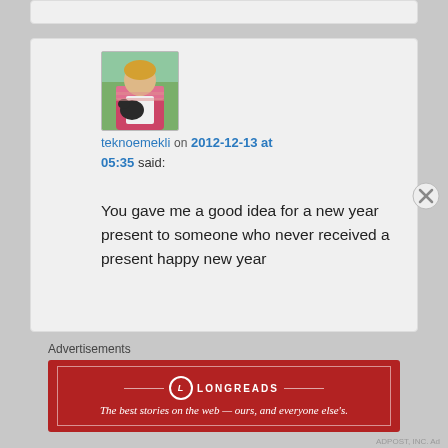teknoemekli on 2012-12-13 at 05:35 said:
You gave me a good idea for a new year present to someone who never received a present happy new year
Like
Reply ↓
Advertisements
[Figure (logo): Longreads advertisement banner — red background with Longreads logo and tagline: The best stories on the web — ours, and everyone else's.]